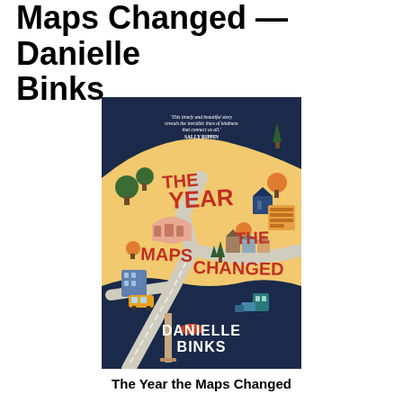Maps Changed — Danielle Binks
[Figure (illustration): Book cover of 'The Year the Maps Changed' by Danielle Binks. Illustrated cover showing a bird's-eye view map of a town with roads, houses, trees, a waterfront with a jetty and a boat. Text on the cover reads 'THE YEAR THE MAPS CHANGED' in large red letters, and 'DANIELLE BINKS' at the bottom. A quote at the top reads: 'This timely and beautiful story reveals the invisible lines of kindness that connect us all.' SALLY RIPPIN. Dark navy blue water at the bottom, golden/cream sky at the top, colourful illustrated buildings and trees throughout.]
The Year the Maps Changed